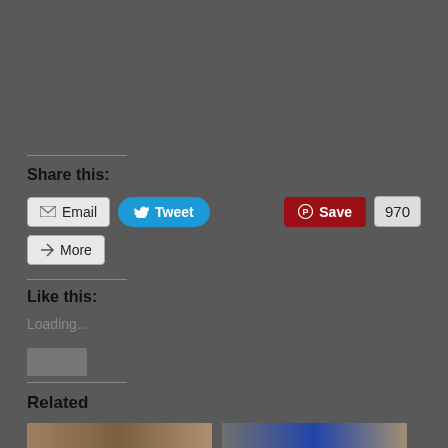Share this:
Email
Tweet
Save
970
More
Like this:
Loading...
Related
[Figure (photo): Two related article thumbnail images at the bottom of the page]